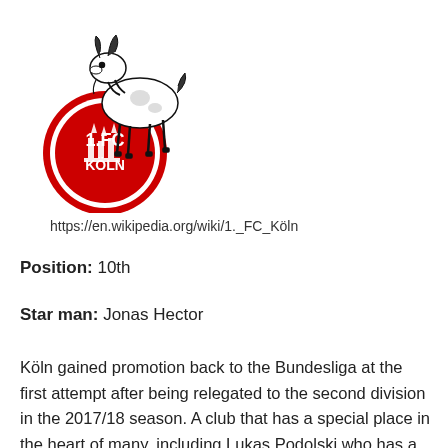[Figure (logo): 1. FC Köln club logo featuring a red circle with '1.FC KÖLN' text and a black billy goat above it]
https://en.wikipedia.org/wiki/1._FC_Köln
Position: 10th
Star man: Jonas Hector
Köln gained promotion back to the Bundesliga at the first attempt after being relegated to the second division in the 2017/18 season. A club that has a special place in the heart of many, including Lukas Podolski who has a tattoo dedicated to the club, they have faired